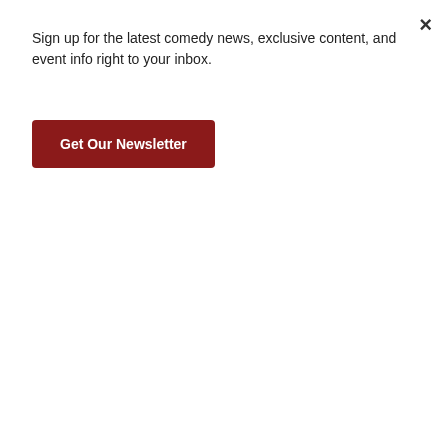×
Sign up for the latest comedy news, exclusive content, and event info right to your inbox.
Get Our Newsletter
prison when he was released. Since his release, he has kept a generally low profile, despite initial rumors of a plan of starting a new comedy tour that never materialized.
RELATED
[Figure (photo): Close-up photo of an elderly Black man's face]
[Figure (photo): Photo of an elderly man outdoors]